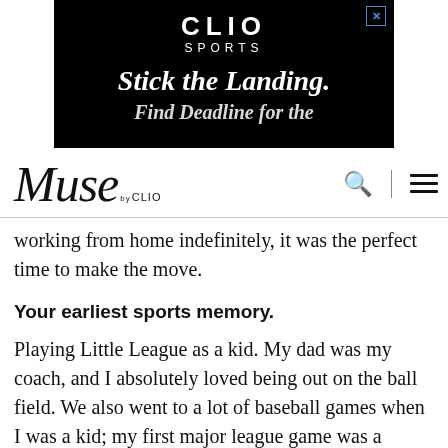[Figure (screenshot): CLIO Sports advertisement banner with black background. Shows 'CLIO' in large bold letters, 'SPORTS' in spaced letters below, 'Stick the Landing.' in large italic serif font, and partial text below.]
Muse by CLIO
working from home indefinitely, it was the perfect time to make the move.
Your earliest sports memory.
Playing Little League as a kid. My dad was my coach, and I absolutely loved being out on the ball field. We also went to a lot of baseball games when I was a kid; my first major league game was a Baltimore Orioles game at Camden Yards when I was 7 years old. I fell in love with the sport back then, and it's still my favorite sport to this day.